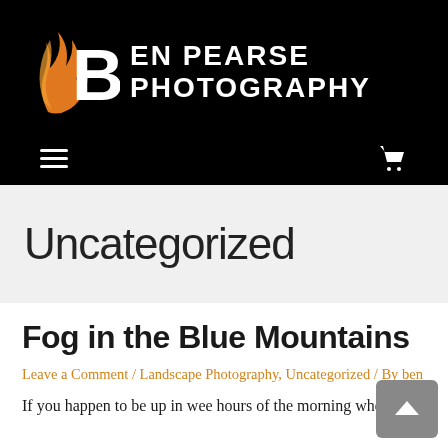[Figure (logo): Ben Pearse Photography logo: stylized flame/B icon in orange and white on black background, with text 'BEN PEARSE PHOTOGRAPHY' in white bold uppercase]
[Figure (infographic): Navigation bar with hamburger menu icon (three white lines) on left and shopping cart icon on right, on black background]
Uncategorized
Fog in the Blue Mountains
Leave a Comment / Landscape Photography, Uncategorized / By ben
If you happen to be up in wee hours of the morning when